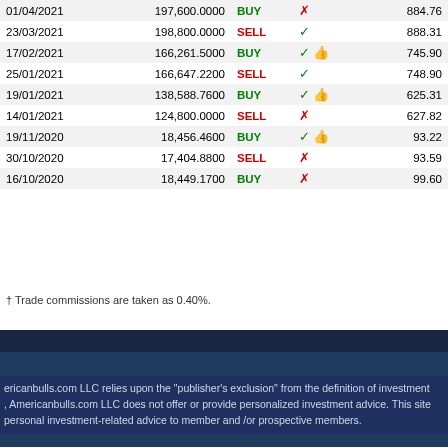| Date | Amount | Type | Indicators | Price |
| --- | --- | --- | --- | --- |
| 01/04/2021 | 197,600.0000 | BUY | ✗ | 884.76 |
| 23/03/2021 | 198,800.0000 | SELL | ✓ | 888.31 |
| 17/02/2021 | 166,261.5000 | BUY | ✓ 👍 | 745.90 |
| 25/01/2021 | 166,647.2200 | SELL | ✓ | 748.90 |
| 19/01/2021 | 138,588.7600 | BUY | ✓ 👍 | 625.31 |
| 14/01/2021 | 124,800.0000 | SELL | ✗ | 627.82 |
| 19/11/2020 | 18,456.4600 | BUY | ✓ 👍 | 93.22 |
| 30/10/2020 | 17,404.8800 | SELL | ✗ | 93.59 |
| 16/10/2020 | 18,449.1700 | BUY | ✗ | 99.60 |
† Trade commissions are taken as 0.40%.
ericanbulls.com LLC relies upon the "publisher's exclusion" from the definition of investment , Americanbulls.com LLC does not offer or provide personalized investment advice. This site personal investment-related advice to member and /or prospective members.